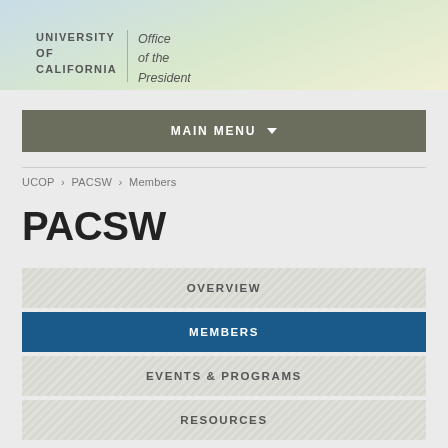UNIVERSITY OF CALIFORNIA  Office of the President
MAIN MENU
UCOP > PACSW > Members
PACSW
OVERVIEW
MEMBERS
EVENTS & PROGRAMS
RESOURCES